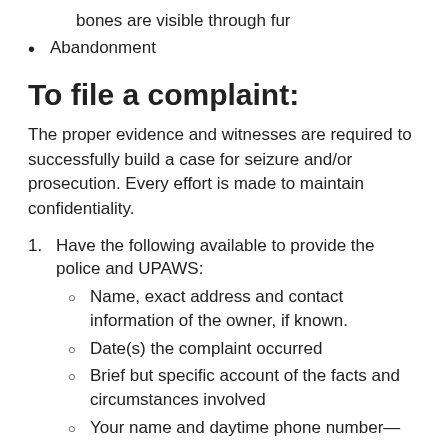bones are visible through fur
Abandonment
To file a complaint:
The proper evidence and witnesses are required to successfully build a case for seizure and/or prosecution. Every effort is made to maintain confidentiality.
Have the following available to provide the police and UPAWS:
Name, exact address and contact information of the owner, if known.
Date(s) the complaint occurred
Brief but specific account of the facts and circumstances involved
Your name and daytime phone number—we may